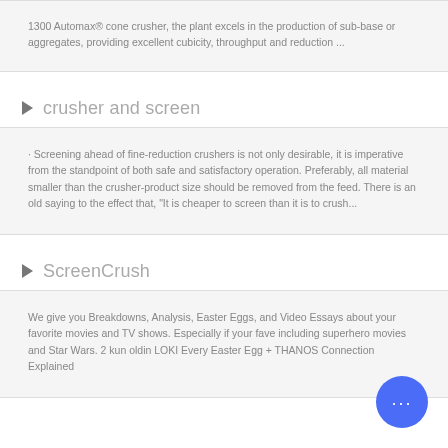1300 Automax® cone crusher, the plant excels in the production of sub-base or aggregates, providing excellent cubicity, throughput and reduction ...
crusher and screen
· Screening ahead of fine-reduction crushers is not only desirable, it is imperative from the standpoint of both safe and satisfactory operation. Preferably, all material smaller than the crusher-product size should be removed from the feed. There is an old saying to the effect that, "It is cheaper to screen than it is to crush...
ScreenCrush
We give you Breakdowns, Analysis, Easter Eggs, and Video Essays about your favorite movies and TV shows. Especially if your fave including superhero movies and Star Wars. 2 kun oldin LOKI Every Easter Egg + THANOS Connection Explained